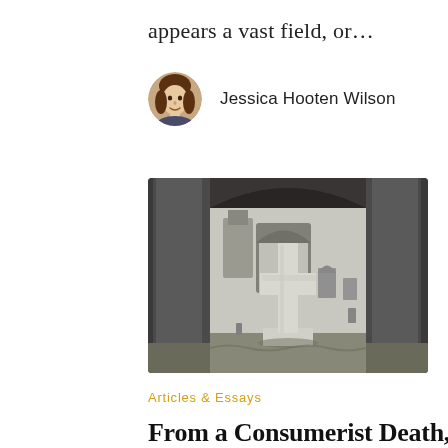appears a vast field, or…
Jessica Hooten Wilson
[Figure (photo): Black and white photograph of a stone cross grave marker in a cemetery, framed by large dark stone pillars with additional gravestones and ruins visible in the background]
Articles & Essays
From a Consumerist Death, Deliver